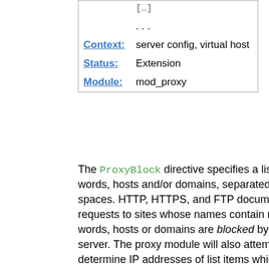|  | [...] |
|  | . . . |
| Context: | server config, virtual host |
| Status: | Extension |
| Module: | mod_proxy |
The ProxyBlock directive specifies a list of words, hosts and/or domains, separated by spaces. HTTP, HTTPS, and FTP document requests to sites whose names contain matched words, hosts or domains are blocked by the proxy server. The proxy module will also attempt to determine IP addresses of list items which may be hostnames during startup, and cache them for match test as well. That may slow down the startup